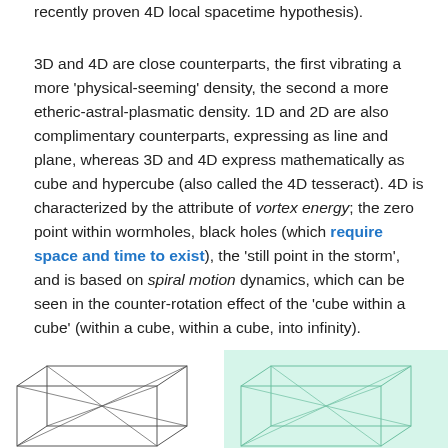recently proven 4D local spacetime hypothesis).
3D and 4D are close counterparts, the first vibrating a more 'physical-seeming' density, the second a more etheric-astral-plasmatic density. 1D and 2D are also complimentary counterparts, expressing as line and plane, whereas 3D and 4D express mathematically as cube and hypercube (also called the 4D tesseract). 4D is characterized by the attribute of vortex energy; the zero point within wormholes, black holes (which require space and time to exist), the 'still point in the storm', and is based on spiral motion dynamics, which can be seen in the counter-rotation effect of the 'cube within a cube' (within a cube, within a cube, into infinity).
[Figure (illustration): Two geometric diagrams side by side. Left: wireframe cube/hypercube sketch on white background. Right: similar geometric figure on light green/mint background.]